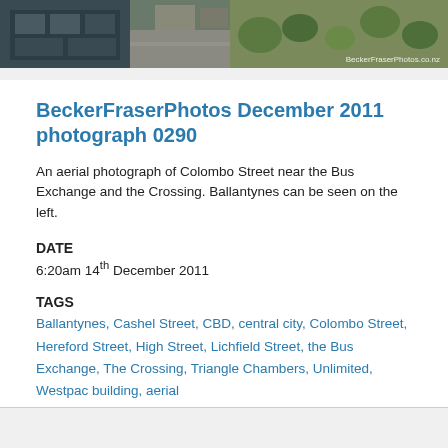[Figure (photo): Aerial photograph of Colombo Street near the Bus Exchange and the Crossing, Christchurch. BeckerFraserPhotos.co.nz watermark visible.]
BeckerFraserPhotos December 2011 photograph 0290
An aerial photograph of Colombo Street near the Bus Exchange and the Crossing. Ballantynes can be seen on the left.
DATE
6:20am 14th December 2011
TAGS
Ballantynes, Cashel Street, CBD, central city, Colombo Street, Hereford Street, High Street, Lichfield Street, the Bus Exchange, The Crossing, Triangle Chambers, Unlimited, Westpac building, aerial